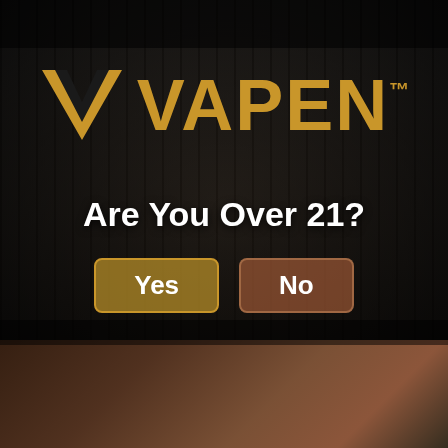[Figure (logo): VAPEN brand logo with gold V chevron icon and gold VAPEN lettering with TM mark on dark overlay background with crowd scene]
Are You Over 21?
Yes
No